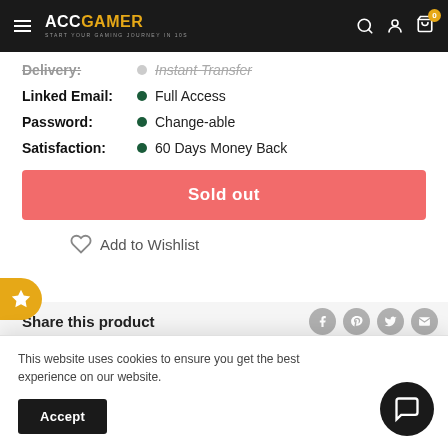ACC GAMER – Start Your Gaming Journey in 10s
Delivery: Instant Transfer
Linked Email: Full Access
Password: Change-able
Satisfaction: 60 Days Money Back
Sold out
Add to Wishlist
Share this product
This website uses cookies to ensure you get the best experience on our website.
Accept